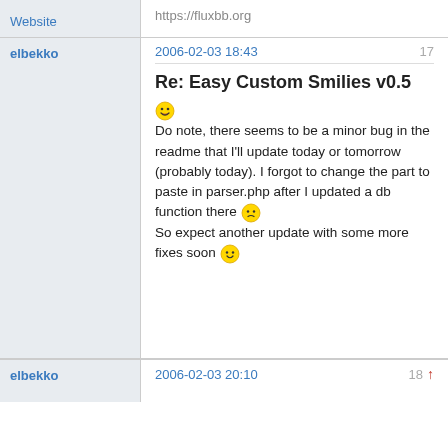https://fluxbb.org
Website
elbekko
2006-02-03 18:43
17
Re: Easy Custom Smilies v0.5
Do note, there seems to be a minor bug in the readme that I'll update today or tomorrow (probably today). I forgot to change the part to paste in parser.php after I updated a db function there
So expect another update with some more fixes soon
elbekko
2006-02-03 20:10
18